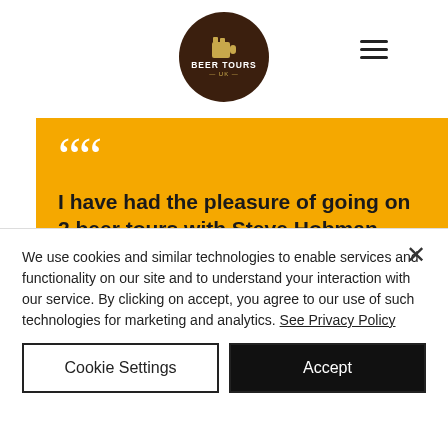[Figure (logo): Beer Tours UK circular logo with dark brown background, beer mug icon, and white text reading BEER TOURS]
[Figure (other): Hamburger menu icon (three horizontal lines)]
I have had the pleasure of going on 2 beer tours with Steve Hobman from Beer Tours UK. The first was to North Wales and Liverpool in 2013, and the second was to the Peak District and Manchester in 2018.
We use cookies and similar technologies to enable services and functionality on our site and to understand your interaction with our service. By clicking on accept, you agree to our use of such technologies for marketing and analytics. See Privacy Policy